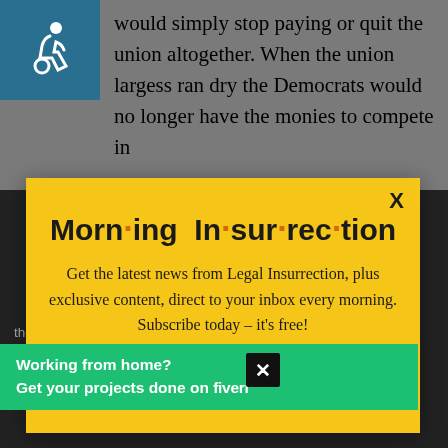would simply stop paying or quit the union altogether. When the union largess ran dry the Democrats would no longer have the monies to compete in
[Figure (infographic): Modal popup for Morning Insurrection newsletter subscription on a yellow background with close button X, title 'Morn·ing In·sur·rec·tion', subscription text, and orange JOIN NOW button]
the difference between voluntary unionism (which nobody has a problem
[Figure (infographic): Fiverr advertisement banner in green: 'Working from home? Get your projects done on fiverr']